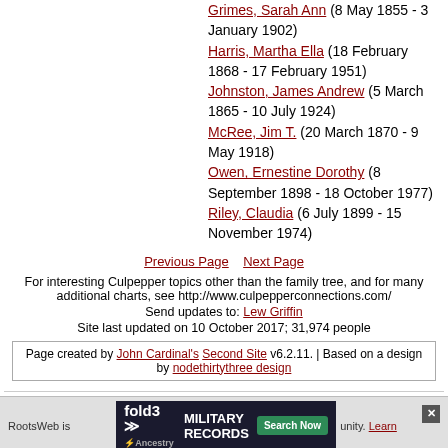Grimes, Sarah Ann (8 May 1855 - 3 January 1902)
Harris, Martha Ella (18 February 1868 - 17 February 1951)
Johnston, James Andrew (5 March 1865 - 10 July 1924)
McRee, Jim T. (20 March 1870 - 9 May 1918)
Owen, Ernestine Dorothy (8 September 1898 - 18 October 1977)
Riley, Claudia (6 July 1899 - 15 November 1974)
Previous Page    Next Page
For interesting Culpepper topics other than the family tree, and for many additional charts, see http://www.culpepperconnections.com/
Send updates to: Lew Griffin
Site last updated on 10 October 2017; 31,974 people
Page created by John Cardinal's Second Site v6.2.11. | Based on a design by nodethirtythree design
RootsWeb is funded ... Learn
[Figure (other): Fold3 Military Records advertisement banner with search now button and close button]